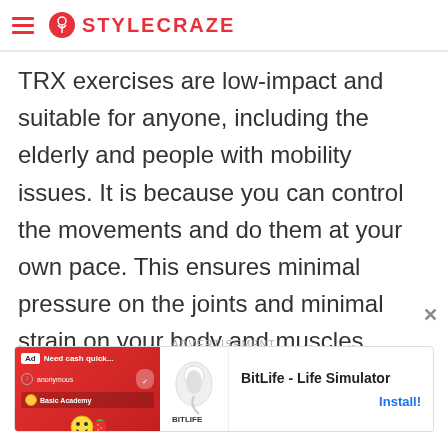STYLECRAZE
TRX exercises are low-impact and suitable for anyone, including the elderly and people with mobility issues. It is because you can control the movements and do them at your own pace. This ensures minimal pressure on the joints and minimal strain on your body and muscles.
[Figure (other): Advertisement banner for BitLife - Life Simulator mobile app, showing a red illustrated banner with cartoon face and sperm logo, with Install button]